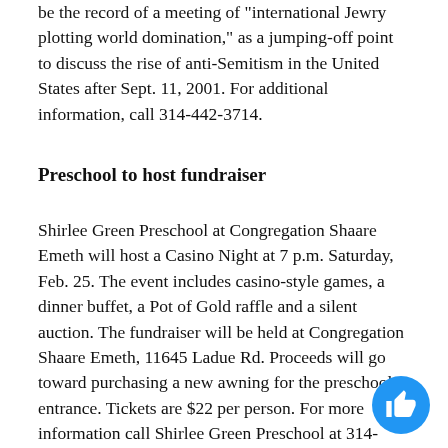be the record of a meeting of "international Jewry plotting world domination," as a jumping-off point to discuss the rise of anti-Semitism in the United States after Sept. 11, 2001. For additional information, call 314-442-3714.
Preschool to host fundraiser
Shirlee Green Preschool at Congregation Shaare Emeth will host a Casino Night at 7 p.m. Saturday, Feb. 25. The event includes casino-style games, a dinner buffet, a Pot of Gold raffle and a silent auction. The fundraiser will be held at Congregation Shaare Emeth, 11645 Ladue Rd. Proceeds will go toward purchasing a new awning for the preschool entrance. Tickets are $22 per person. For more information call Shirlee Green Preschool at 314-569-0048.